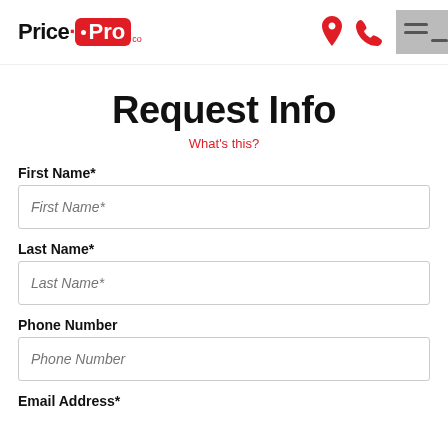Price Pro — logo with location and phone icons and menu
Request Info
What's this?
First Name*
First Name*
Last Name*
Last Name*
Phone Number
Phone Number
Email Address*